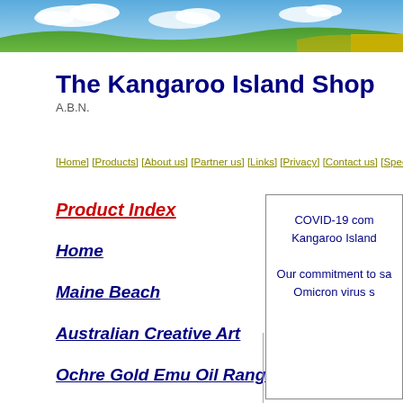[Figure (photo): Blue sky with white clouds and green/yellow hills landscape banner at top of page]
The Kangaroo Island Shop A.B.N.
[Home] [Products] [About us] [Partner us] [Links] [Privacy] [Contact us] [Specials] [Conditio...
Product Index
Home
Maine Beach
Australian Creative Art
Ochre Gold Emu Oil Range
COVID-19 com... Kangaroo Island
Our commitment to sa... Omicron virus s...